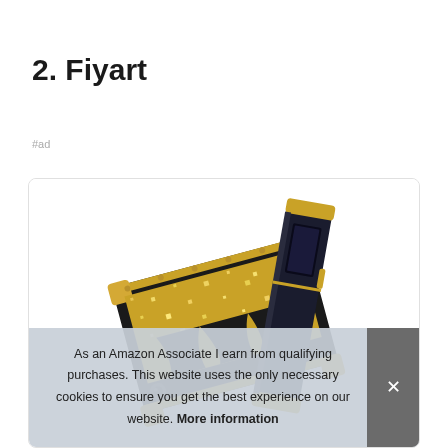2. Fiyart
#ad
[Figure (photo): Product photo of a Fiyart phone/device with black and gold glitter design, showing front and back view]
As an Amazon Associate I earn from qualifying purchases. This website uses the only necessary cookies to ensure you get the best experience on our website. More information